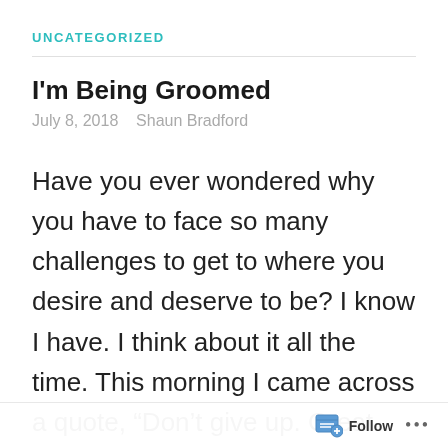UNCATEGORIZED
I'm Being Groomed
July 8, 2018   Shaun Bradford
Have you ever wondered why you have to face so many challenges to get to where you desire and deserve to be? I know I have. I think about it all the time. This morning I came across a quote, “Don’t give up. Great things take
Follow …